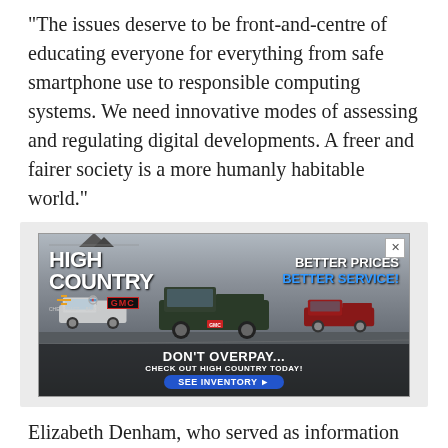"The issues deserve to be front-and-centre of educating everyone for everything from safe smartphone use to responsible computing systems. We need innovative modes of assessing and regulating digital developments. A freer and fairer society is a more humanly habitable world."
[Figure (illustration): Advertisement for High Country Chevrolet Buick GMC dealership. Shows logo with mountain graphic, text 'BETTER PRICES BETTER SERVICE!', three pickup trucks (silver, dark green, red), and call-to-action text 'DON'T OVERPAY... CHECK OUT HIGH COUNTRY TODAY!' with a blue 'SEE INVENTORY' button.]
Elizabeth Denham, who served as information and privacy